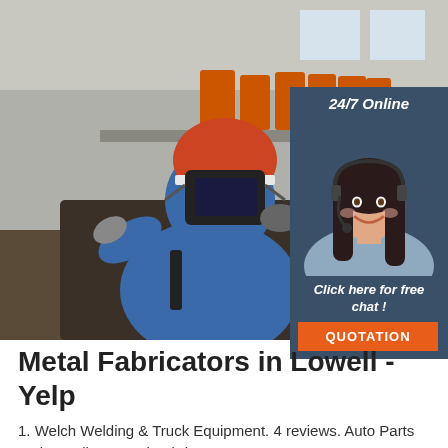[Figure (photo): Industrial welding scene: a worker wearing a hard hat and welding mask holds a welding torch, producing bright sparks. Multiple welding machines and equipment visible in background of a large factory floor.]
[Figure (infographic): Chat widget overlay on right side: dark blue/slate background with '24/7 Online' text at top, a smiling woman with headset (customer service rep), italic text 'Click here for free chat!', and orange 'QUOTATION' button at bottom.]
Metal Fabricators in Lowell - Yelp
1. Welch Welding & Truck Equipment. 4 reviews. Auto Parts and Supplies, Metal Fabricators. 164